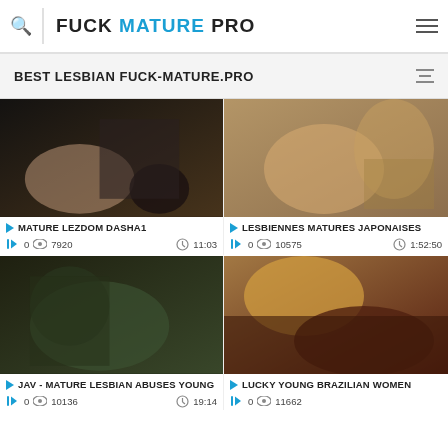FUCK MATURE PRO
BEST LESBIAN FUCK-MATURE.PRO
[Figure (photo): Video thumbnail: mature women]
MATURE LEZDOM DASHA1
0  7920  11:03
[Figure (photo): Video thumbnail: mature women]
LESBIENNES MATURES JAPONAISES
0  10575  1:52:50
[Figure (photo): Video thumbnail]
JAV - MATURE LESBIAN ABUSES YOUNG
0  10136  19:14
[Figure (photo): Video thumbnail]
LUCKY YOUNG BRAZILIAN WOMEN
0  11662